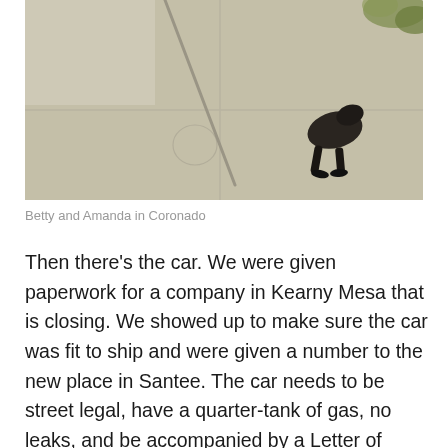[Figure (photo): Overhead view of a sidewalk/pavement with a shadow of a person and a dark bag or item lying on the concrete, outdoors in sunlight.]
Betty and Amanda in Coronado
Then there's the car. We were given paperwork for a company in Kearny Mesa that is closing. We showed up to make sure the car was fit to ship and were given a number to the new place in Santee. The car needs to be street legal, have a quarter-tank of gas, no leaks, and be accompanied by a Letter of Authorization (big hassle from bank, etc.) or the title (another hassle involving DMV) – in which we might not get either before we leave. We may be living in the car (camping) while we finish sorting this out and then I'm on my own once I drop the car off, so far from the airport, probably surrounded by rentals that forbid